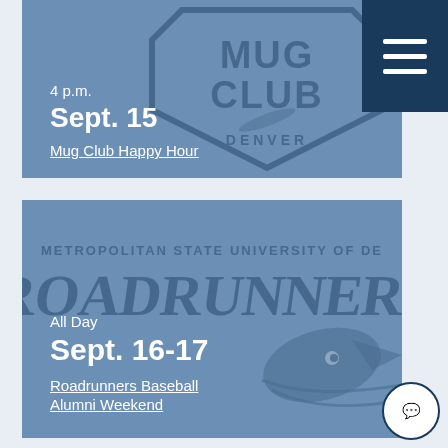[Figure (infographic): Event card with blue Mug Club Denver logo background, showing time '4 p.m.', date 'Sept. 15', and link 'Mug Club Happy Hour']
4 p.m.
Sept. 15
Mug Club Happy Hour
[Figure (infographic): Event card with Metropolitan State University of Denver Roadrunners logo background, showing 'All Day', 'Sept. 16-17', and link 'Roadrunners Baseball Alumni Weekend']
All Day
Sept. 16-17
Roadrunners Baseball Alumni Weekend